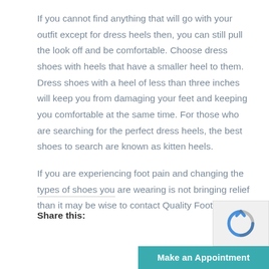If you cannot find anything that will go with your outfit except for dress heels then, you can still pull the look off and be comfortable. Choose dress shoes with heels that have a smaller heel to them. Dress shoes with a heel of less than three inches will keep you from damaging your feet and keeping you comfortable at the same time. For those who are searching for the perfect dress heels, the best shoes to search are known as kitten heels.
If you are experiencing foot pain and changing the types of shoes you are wearing is not bringing relief than it may be wise to contact Quality Foot Care.
Share this: